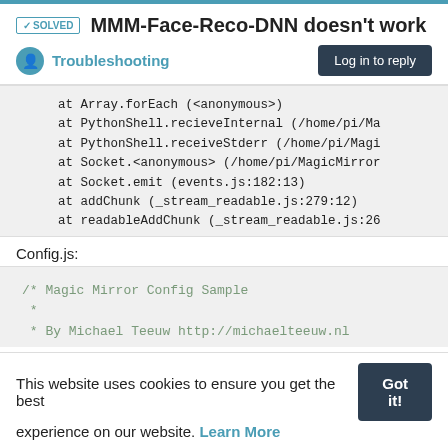✓SOLVED MMM-Face-Reco-DNN doesn't work
Troubleshooting
[Figure (screenshot): Code block showing stack trace: at Array.forEach (<anonymous>), at PythonShell.recieveInternal (/home/pi/Ma...), at PythonShell.receiveStderr (/home/pi/Magi...), at Socket.<anonymous> (/home/pi/MagicMirror...), at Socket.emit (events.js:182:13), at addChunk (_stream_readable.js:279:12), at readableAddChunk (_stream_readable.js:26...)]
Config.js:
[Figure (screenshot): Code block showing beginning of Magic Mirror Config Sample comment: /* Magic Mirror Config Sample
 *
 * By Michael Teeuw http://michaelteeuw.nl]
This website uses cookies to ensure you get the best experience on our website. Learn More